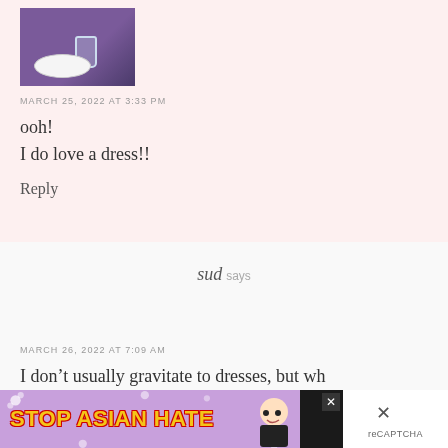[Figure (photo): Avatar photo of a person wearing a purple top, with a wine glass and white plate visible on a wooden table]
MARCH 25, 2022 AT 3:33 PM
ooh!
I do love a dress!!
Reply
sud says
MARCH 26, 2022 AT 7:09 AM
I don't usually gravitate to dresses, but wh
[Figure (other): Stop Asian Hate advertisement banner with yellow bold text on purple background with flower decorations and anime-style character]